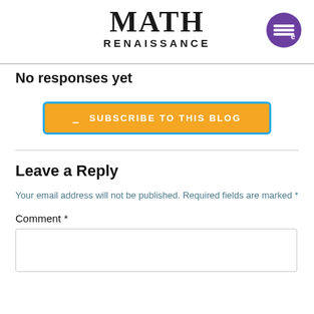MATH RENAISSANCE
No responses yet
[Figure (other): Subscribe to this blog button - orange button with teal border]
Leave a Reply
Your email address will not be published. Required fields are marked *
Comment *